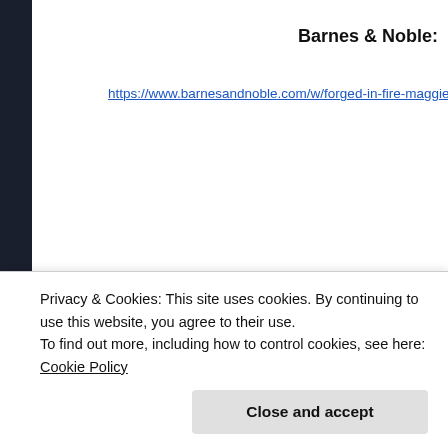Barnes & Noble:
https://www.barnesandnoble.com/w/forged-in-fire-maggie-adams/11
[Figure (illustration): Decorative row of alternating blue outlined stars and light blue snowflake icons]
Cold as Ice:
A Tempered Steel Novel
Privacy & Cookies: This site uses cookies. By continuing to use this website, you agree to their use.
To find out more, including how to control cookies, see here: Cookie Policy
Close and accept